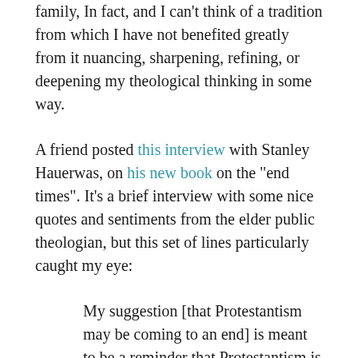family, In fact, and I can't think of a tradition from which I have not benefited greatly from it nuancing, sharpening, refining, or deepening my theological thinking in some way.
A friend posted this interview with Stanley Hauerwas, on his new book on the "end times". It's a brief interview with some nice quotes and sentiments from the elder public theologian, but this set of lines particularly caught my eye:
My suggestion [that Protestantism may be coming to an end] is meant to be a reminder that Protestantism is a reform movement. When it becomes an end in itself it becomes unintelligible to itself. Protestants who don't long for Christian